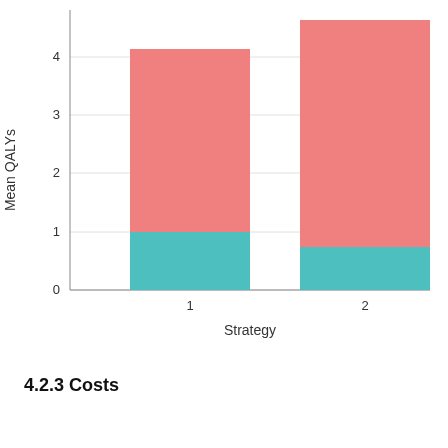[Figure (stacked-bar-chart): ]
4.2.3 Costs